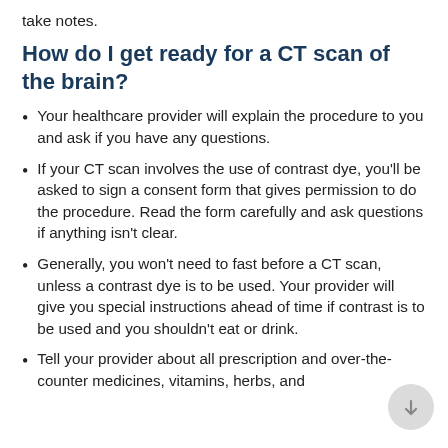take notes.
How do I get ready for a CT scan of the brain?
Your healthcare provider will explain the procedure to you and ask if you have any questions.
If your CT scan involves the use of contrast dye, you'll be asked to sign a consent form that gives permission to do the procedure. Read the form carefully and ask questions if anything isn't clear.
Generally, you won't need to fast before a CT scan, unless a contrast dye is to be used. Your provider will give you special instructions ahead of time if contrast is to be used and you shouldn't eat or drink.
Tell your provider about all prescription and over-the-counter medicines, vitamins, herbs, and